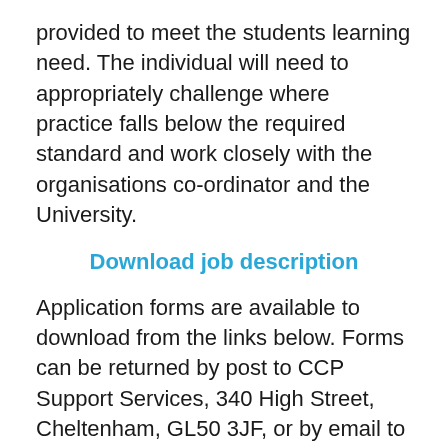provided to meet the students learning need. The individual will need to appropriately challenge where practice falls below the required standard and work closely with the organisations co-ordinator and the University.
Download job description
Application forms are available to download from the links below. Forms can be returned by post to CCP Support Services, 340 High Street, Cheltenham, GL50 3JF, or by email to the address shown on the application form.